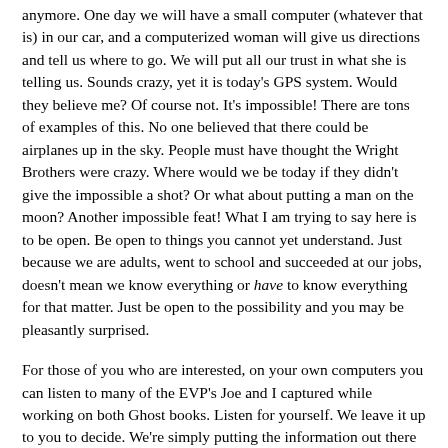anymore. One day we will have a small computer (whatever that is) in our car, and a computerized woman will give us directions and tell us where to go. We will put all our trust in what she is telling us. Sounds crazy, yet it is today's GPS system. Would they believe me? Of course not. It's impossible! There are tons of examples of this. No one believed that there could be airplanes up in the sky. People must have thought the Wright Brothers were crazy. Where would we be today if they didn't give the impossible a shot? Or what about putting a man on the moon? Another impossible feat! What I am trying to say here is to be open. Be open to things you cannot yet understand. Just because we are adults, went to school and succeeded at our jobs, doesn't mean we know everything or have to know everything for that matter. Just be open to the possibility and you may be pleasantly surprised.
For those of you who are interested, on your own computers you can listen to many of the EVP's Joe and I captured while working on both Ghost books. Listen for yourself. We leave it up to you to decide. We're simply putting the information out there for you. To get to them, go on to Joe's website at